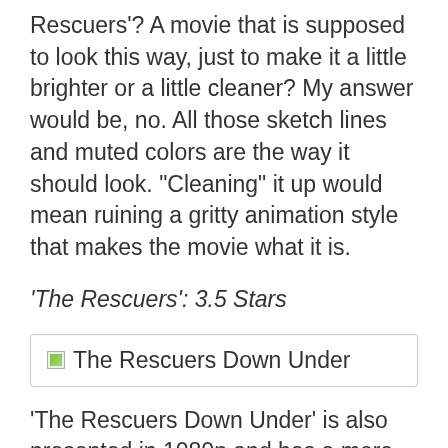Rescuers'? A movie that is supposed to look this way, just to make it a little brighter or a little cleaner? My answer would be, no. All those sketch lines and muted colors are the way it should look. "Cleaning" it up would mean ruining a gritty animation style that makes the movie what it is.
'The Rescuers': 3.5 Stars
[Figure (other): Broken image placeholder labeled 'The Rescuers Down Under']
'The Rescuers Down Under' is also presented in 1080p and has a more modern style to it. The animation is certainly cleaner, clearer, and provides a bit more crisp pop to the image. Its colors are much more vivid too. This is the movie that will really